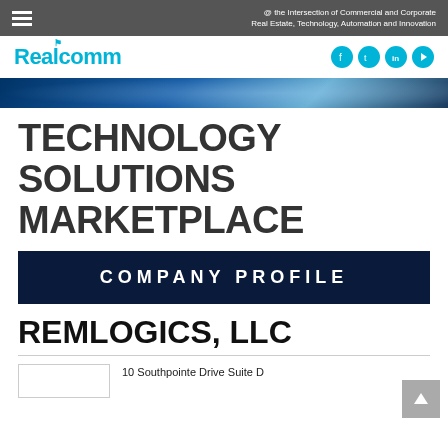@ the Intersection of Commercial and Corporate Real Estate, Technology, Automation and Innovation
[Figure (logo): Realcomm logo in cyan blue with social media icons (Facebook, Twitter, LinkedIn, YouTube)]
[Figure (photo): Hero banner strip showing technology/building imagery in blue tones]
TECHNOLOGY SOLUTIONS MARKETPLACE
COMPANY PROFILE
REMLOGICS, LLC
10 Southpointe Drive Suite D